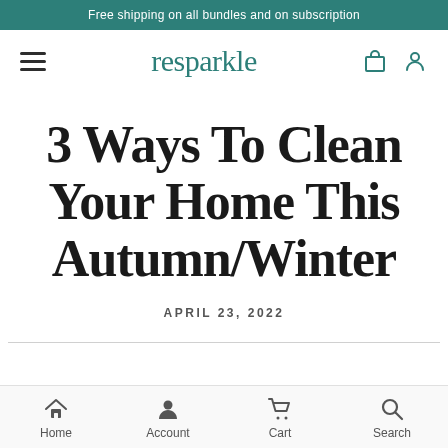Free shipping on all bundles and on subscription
resparkle
3 Ways To Clean Your Home This Autumn/Winter
APRIL 23, 2022
Home  Account  Cart  Search